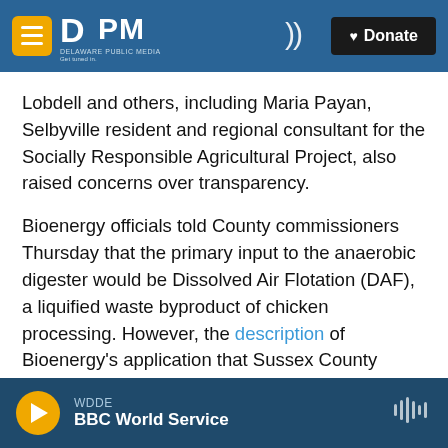DPM Delaware Public Media | Donate
Lobdell and others, including Maria Payan, Selbyville resident and regional consultant for the Socially Responsible Agricultural Project, also raised concerns over transparency.
Bioenergy officials told County commissioners Thursday that the primary input to the anaerobic digester would be Dissolved Air Flotation (DAF), a liquified waste byproduct of chicken processing. However, the description of Bioenergy's application that Sussex County published on its website says the anaerobic digester would process chicken litter,
WDDE BBC World Service